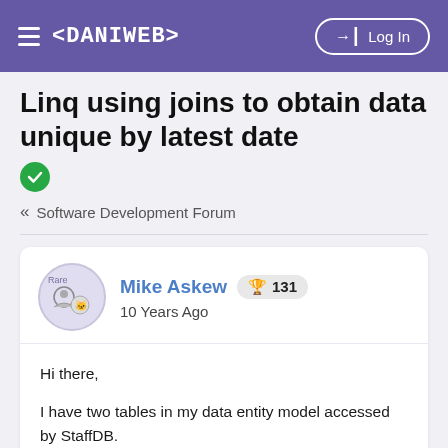< DANIWEB >   Log In
Linq using joins to obtain data unique by latest date
« Software Development Forum
Mike Askew  🏆 131  10 Years Ago
Hi there,

I have two tables in my data entity model accessed by StaffDB.

Staffs contains:
StaffID
FirstName